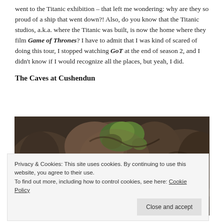went to the Titanic exhibition – that left me wondering: why are they so proud of a ship that went down?! Also, do you know that the Titanic studios, a.k.a. where the Titanic was built, is now the home where they film Game of Thrones? I have to admit that I was kind of scared of doing this tour, I stopped watching GoT at the end of season 2, and I didn't know if I would recognize all the places, but yeah, I did.
The Caves at Cushendun
[Figure (photo): Close-up photograph of rocky cave walls with green moss and textured stone surfaces at Cushendun caves.]
Privacy & Cookies: This site uses cookies. By continuing to use this website, you agree to their use.
To find out more, including how to control cookies, see here: Cookie Policy